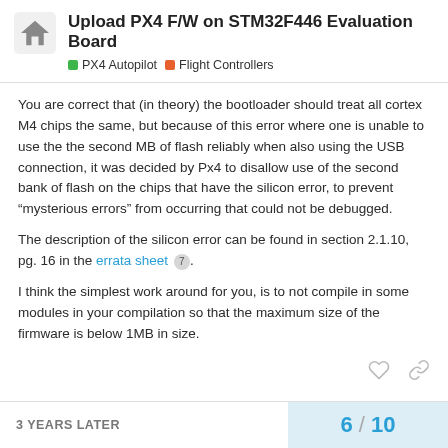Upload PX4 F/W on STM32F446 Evaluation Board | PX4 Autopilot | Flight Controllers
You are correct that (in theory) the bootloader should treat all cortex M4 chips the same, but because of this error where one is unable to use the the second MB of flash reliably when also using the USB connection, it was decided by Px4 to disallow use of the second bank of flash on the chips that have the silicon error, to prevent “mysterious errors” from occurring that could not be debugged.
The description of the silicon error can be found in section 2.1.10, pg. 16 in the errata sheet 7.
I think the simplest work around for you, is to not compile in some modules in your compilation so that the maximum size of the firmware is below 1MB in size.
3 YEARS LATER | 6 / 10